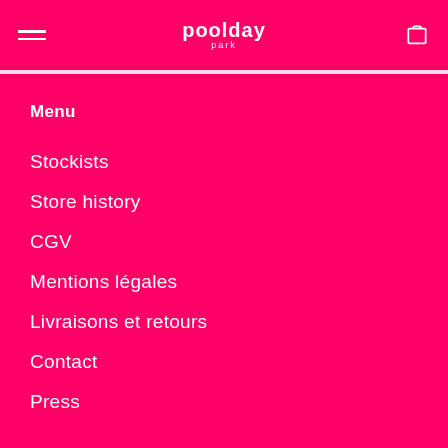poolday park
Menu
Stockists
Store history
CGV
Mentions légales
Livraisons et retours
Contact
Press